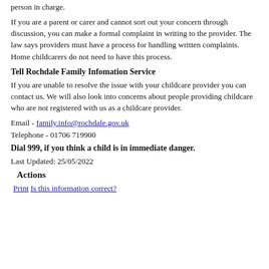person in charge.
If you are a parent or carer and cannot sort out your concern through discussion, you can make a formal complaint in writing to the provider. The law says providers must have a process for handling written complaints. Home childcarers do not need to have this process.
Tell Rochdale Family Infomation Service
If you are unable to resolve the issue with your childcare provider you can contact us. We will also look into concerns about people providing childcare who are not registered with us as a childcare provider.
Email - family.info@rochdale.gov.uk
Telephone - 01706 719900
Dial 999, if you think a child is in immediate danger.
Last Updated: 25/05/2022
Actions
Print Is this information correct?